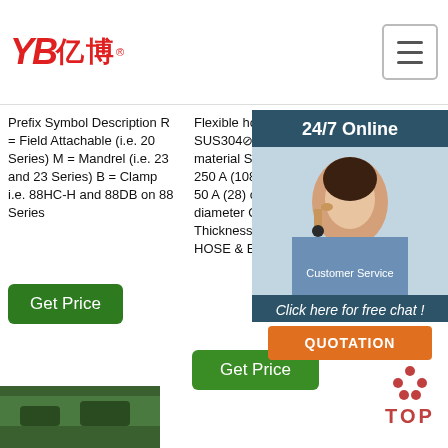YB亿博® [logo with hamburger menu]
Prefix Symbol Description R = Field Attachable (i.e. 20 Series) M = Mandrel (i.e. 23 and 23 Series) B = Clamp i.e. 88HC-H and 88DB on 88 Series
Flexible hose materials SUS304⊘ SUS316L Braid material SUS304 Wire braid: 250 A (108) or less Tape braid: 50 A (28) or more Inner diameter Outer diameter Pitch Thickness 6 2 FLEXIBLE HOSE & BELLOWS
[Figure (photo): Customer service representative with headset, 24/7 Online chat sidebar with QUOTATION button]
Get Price (left column button)
Get Price (middle column button)
[Figure (illustration): TOP scroll-to-top button icon with orange dots]
[Figure (photo): Partial photo at bottom left, green/industrial item]